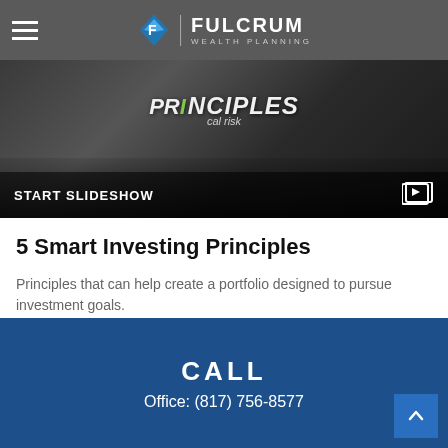FULCRUM WEALTH PLANNING
[Figure (screenshot): Hero image with the word PRINCIPLES in large bold white text over a dark background showing hands and a book, with a 'START SLIDESHOW' button bar at the bottom]
5 Smart Investing Principles
Principles that can help create a portfolio designed to pursue investment goals.
CALL
Office: (817) 756-8577